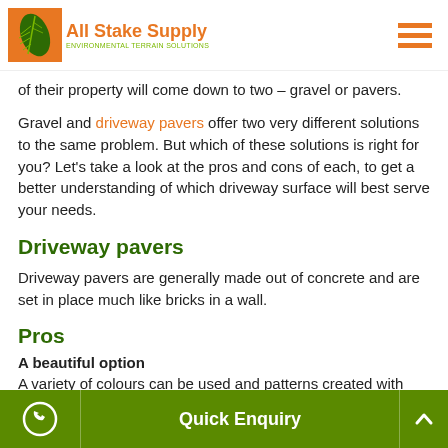All Stake Supply - Environmental Terrain Solutions
of their property will come down to two – gravel or pavers.
Gravel and driveway pavers offer two very different solutions to the same problem. But which of these solutions is right for you? Let's take a look at the pros and cons of each, to get a better understanding of which driveway surface will best serve your needs.
Driveway pavers
Driveway pavers are generally made out of concrete and are set in place much like bricks in a wall.
Pros
A beautiful option
A variety of colours can be used and patterns created with concrete pavers, and they make for a clean and neat look.